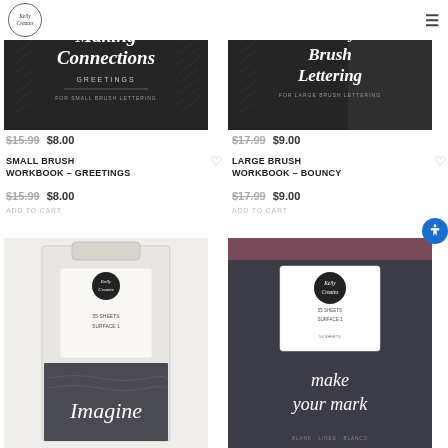[Figure (screenshot): E-commerce product listing page for Kelly Creates brand. Top section shows two brush lettering workbooks with sale prices, bottom section shows two more products (notebooks/workbooks) in packaging.]
$15.99 $8.00
$17.99 $9.00
SMALL BRUSH WORKBOOK – GREETINGS
$15.99 $8.00
ADD TO CART
LARGE BRUSH WORKBOOK – BOUNCY
$17.99 $9.00
ADD TO CART